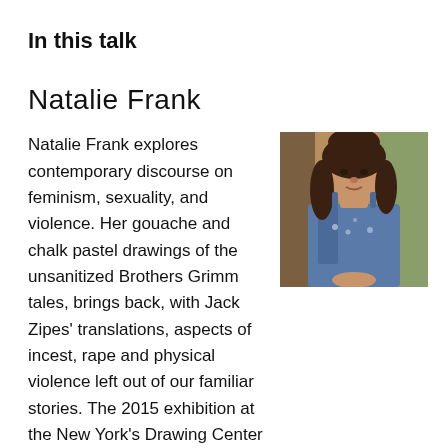In this talk
Natalie Frank
[Figure (photo): Portrait photo of Natalie Frank, a woman with long dark curly hair, wearing a blue sleeveless top, standing in front of colorful artwork.]
Natalie Frank explores contemporary discourse on feminism, sexuality, and violence. Her gouache and chalk pastel drawings of the unsanitized Brothers Grimm tales, brings back, with Jack Zipes' translations, aspects of incest, rape and physical violence left out of our familiar stories. The 2015 exhibition at the New York's Drawing Center travelled to Blanton Museum, Austin and University of Kentucky Art Museum, Lexington, accompanied